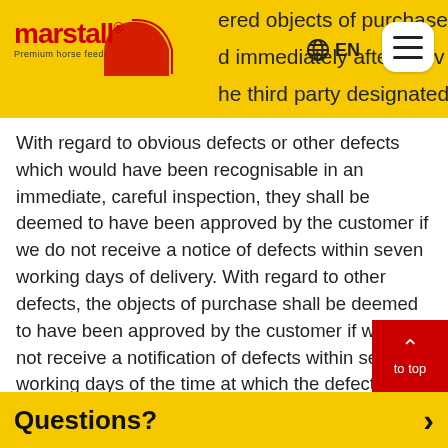[Figure (logo): Marstall Premium horse feed logo in red on yellow navigation bar]
ered objects of purchase d immediately after deliv he third party designated
With regard to obvious defects or other defects which would have been recognisable in an immediate, careful inspection, they shall be deemed to have been approved by the customer if we do not receive a notice of defects within seven working days of delivery. With regard to other defects, the objects of purchase shall be deemed to have been approved by the customer if we do not receive a notification of defects within seven working days of the time at which the defect became apparent. If the defect was already recognisable to the customer at an earlier point in time during normal use, however, this earlier point in time is decisive for the start of the complaint period. At our request, a deli- item which is the subject of a complaint must be re- turned to us carriage paid. In the event of a justified
Questions?